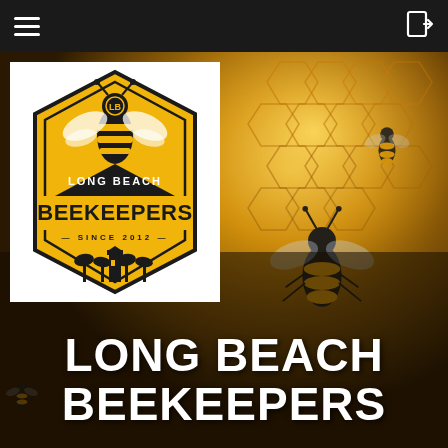Navigation bar with hamburger menu and login icon
[Figure (photo): Background photo of honeybees on golden honeycomb, close-up macro shot with bees visible crawling on comb structure, warm amber/gold tones]
[Figure (logo): Long Beach Beekeepers logo: hexagonal badge shape in black and gold featuring a large bee illustration at top, 'LB' circle emblem, bold text 'LONG BEACH' above 'BEEKEEPERS' in large letters on gold background, 'SINCE 2012' banner, lighthouse and palm trees silhouette at bottom]
LONG BEACH BEEKEEPERS